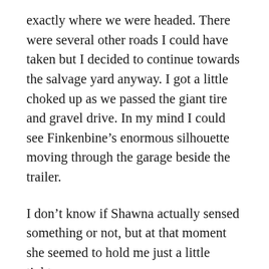exactly where we were headed. There were several other roads I could have taken but I decided to continue towards the salvage yard anyway. I got a little choked up as we passed the giant tire and gravel drive. In my mind I could see Finkenbine’s enormous silhouette moving through the garage beside the trailer.
I don’t know if Shawna actually sensed something or not, but at that moment she seemed to hold me just a little tighter.
If I could’ve had just one wish, it would have been for that ride to last forever, but I knew that wasn’t possible, and continuing to ride with her holding on to me was only making the reality of my situation even more painful. No